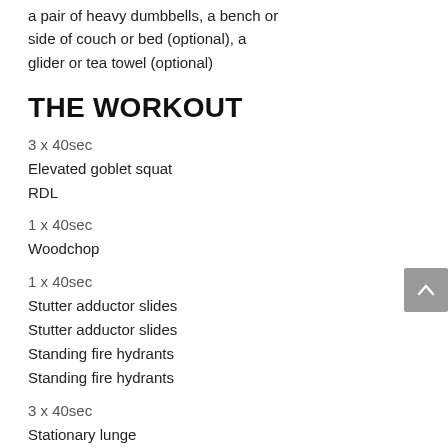a pair of heavy dumbbells, a bench or side of couch or bed (optional), a glider or tea towel (optional)
THE WORKOUT
3 x 40sec
Elevated goblet squat
RDL
1 x 40sec
Woodchop
1 x 40sec
Stutter adductor slides
Stutter adductor slides
Standing fire hydrants
Standing fire hydrants
3 x 40sec
Stationary lunge